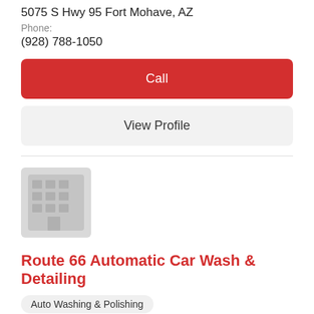5075 S Hwy 95 Fort Mohave, AZ
Phone:
(928) 788-1050
Call
View Profile
[Figure (illustration): Generic grey building/office placeholder icon]
Route 66 Automatic Car Wash & Detailing
Auto Washing & Polishing
Address:
201 E Andy Devine Ave Kingman, AZ
Phone:
(928) 753-4606
Call